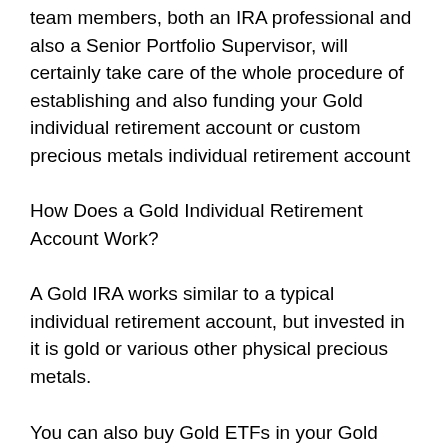team members, both an IRA professional and also a Senior Portfolio Supervisor, will certainly take care of the whole procedure of establishing and also funding your Gold individual retirement account or custom precious metals individual retirement account
How Does a Gold Individual Retirement Account Work?
A Gold IRA works similar to a typical individual retirement account, but invested in it is gold or various other physical precious metals.
You can also buy Gold ETFs in your Gold individual retirement account.